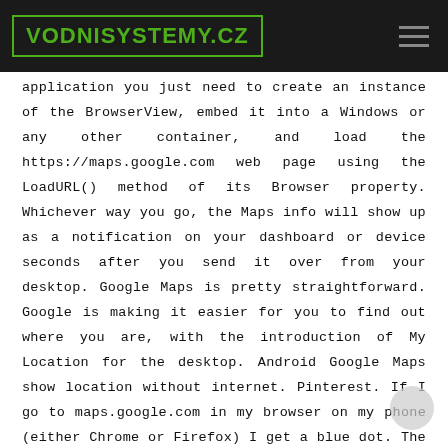VODNISYSTEMY.CZ
application you just need to create an instance of the BrowserView, embed it into a Windows or any other container, and load the https://maps.google.com web page using the LoadURL() method of its Browser property. Whichever way you go, the Maps info will show up as a notification on your dashboard or device seconds after you send it over from your desktop. Google Maps is pretty straightforward. Google is making it easier for you to find out where you are, with the introduction of My Location for the desktop. Android Google Maps show location without internet. Pinterest. If I go to maps.google.com in my browser on my phone (either Chrome or Firefox) I get a blue dot. The Windows 10 default location is set ... But now it just zoom the camera on my current location without blue dot icon. Maps of your